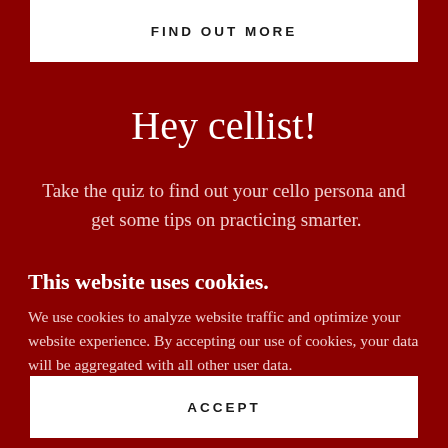FIND OUT MORE
Hey cellist!
Take the quiz to find out your cello persona and  get some tips on practicing smarter.
This website uses cookies.
We use cookies to analyze website traffic and optimize your website experience. By accepting our use of cookies, your data will be aggregated with all other user data.
ACCEPT